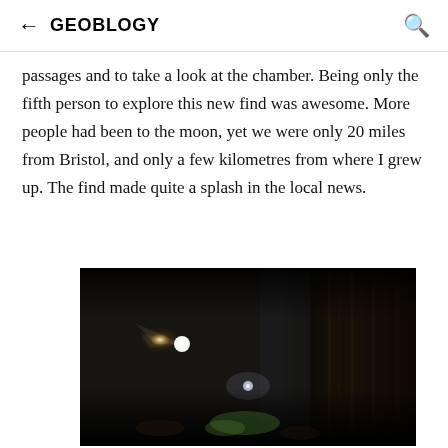← GEOBLOGY 🔍
passages and to take a look at the chamber. Being only the fifth person to explore this new find was awesome. More people had been to the moon, yet we were only 20 miles from Bristol, and only a few kilometres from where I grew up. The find made quite a splash in the local news.
[Figure (photo): Dark cave passage with a bright headlamp light illuminating wet rock walls with streaks; a caver is visible in the background with another light source; green vegetation or equipment visible at bottom.]